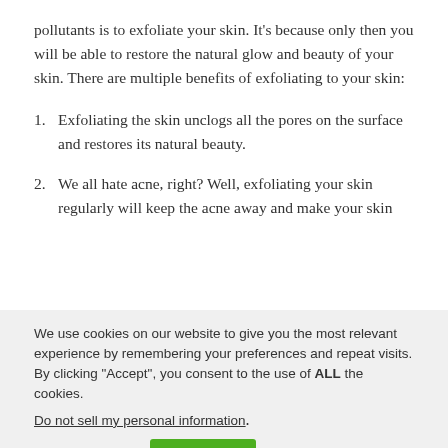pollutants is to exfoliate your skin. It’s because only then you will be able to restore the natural glow and beauty of your skin. There are multiple benefits of exfoliating to your skin:
Exfoliating the skin unclogs all the pores on the surface and restores its natural beauty.
We all hate acne, right? Well, exfoliating your skin regularly will keep the acne away and make your skin
We use cookies on our website to give you the most relevant experience by remembering your preferences and repeat visits. By clicking “Accept”, you consent to the use of ALL the cookies.
Do not sell my personal information.